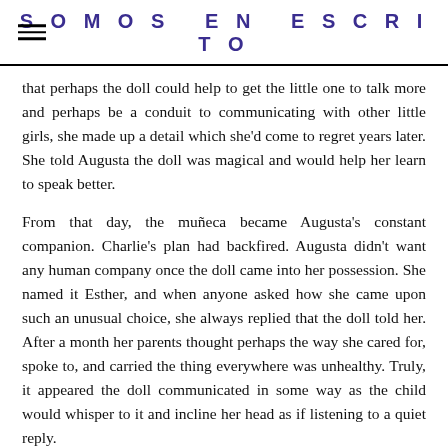SOMOS EN ESCRITO
that perhaps the doll could help to get the little one to talk more and perhaps be a conduit to communicating with other little girls, she made up a detail which she'd come to regret years later. She told Augusta the doll was magical and would help her learn to speak better.
From that day, the muñeca became Augusta's constant companion. Charlie's plan had backfired. Augusta didn't want any human company once the doll came into her possession. She named it Esther, and when anyone asked how she came upon such an unusual choice, she always replied that the doll told her. After a month her parents thought perhaps the way she cared for, spoke to, and carried the thing everywhere was unhealthy. Truly, it appeared the doll communicated in some way as the child would whisper to it and incline her head as if listening to a quiet reply.
If the adults tried to take Esther away, Augusta's cries were so forlorn they ended up giving it back before too long. Thinking they